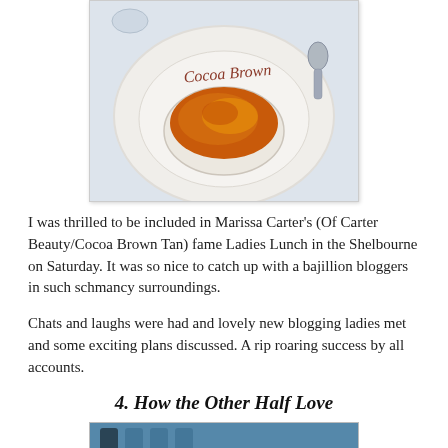[Figure (photo): A white plate with 'Cocoa Brown' written in chocolate script, holding a crème brûlée dessert in a small white ramekin, placed on a restaurant table.]
I was thrilled to be included in Marissa Carter's (Of Carter Beauty/Cocoa Brown Tan) fame Ladies Lunch in the Shelbourne on Saturday. It was so nice to catch up with a bajillion bloggers in such schmancy surroundings.
Chats and laughs were had and lovely new blogging ladies met and some exciting plans discussed. A rip roaring success by all accounts.
4. How the Other Half Love
[Figure (photo): Partial view of another photo, showing a blue/teal patterned background with what appears to be a table setting.]